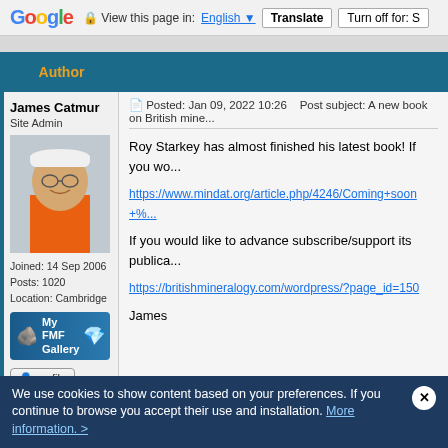Google Translate bar — View this page in: English | Translate | Turn off for: S
Posted: Jan 09, 2022 10:26   Post subject: A new book on British mine...
Author column: James Catmur, Site Admin. Joined: 14 Sep 2006, Posts: 1020, Location: Cambridge
Roy Starkey has almost finished his latest book! If you wo...
https://www.mindat.org/article.php/4246/Coming+soon+%...
If you would like to advance subscribe/support its publica...
https://britishmineralogy.com/wordpress/?page_id=150
James
We use cookies to show content based on your preferences. If you continue to browse you accept their use and installation. More information. >